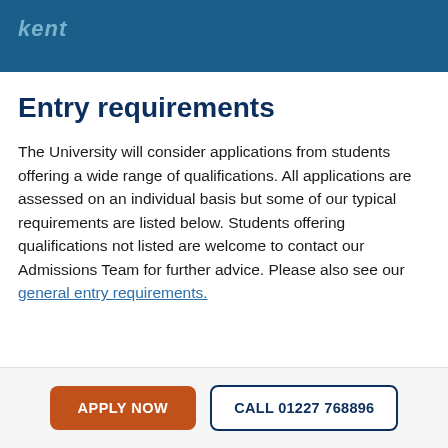kent
Entry requirements
The University will consider applications from students offering a wide range of qualifications. All applications are assessed on an individual basis but some of our typical requirements are listed below. Students offering qualifications not listed are welcome to contact our Admissions Team for further advice. Please also see our general entry requirements.
APPLY NOW | CALL 01227 768896